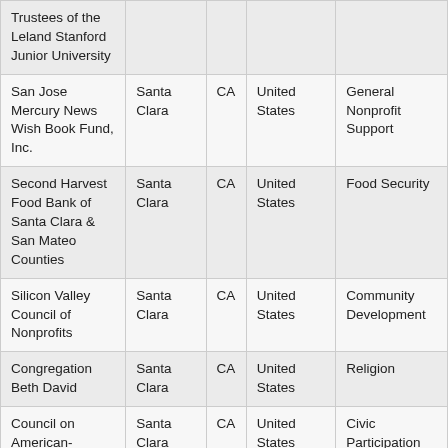| Organization | City | State | Country | Category |
| --- | --- | --- | --- | --- |
| Trustees of the Leland Stanford Junior University |  |  |  |  |
| San Jose Mercury News Wish Book Fund, Inc. | Santa Clara | CA | United States | General Nonprofit Support |
| Second Harvest Food Bank of Santa Clara & San Mateo Counties | Santa Clara | CA | United States | Food Security |
| Silicon Valley Council of Nonprofits | Santa Clara | CA | United States | Community Development |
| Congregation Beth David | Santa Clara | CA | United States | Religion |
| Council on American- | Santa Clara | CA | United States | Civic Participation |